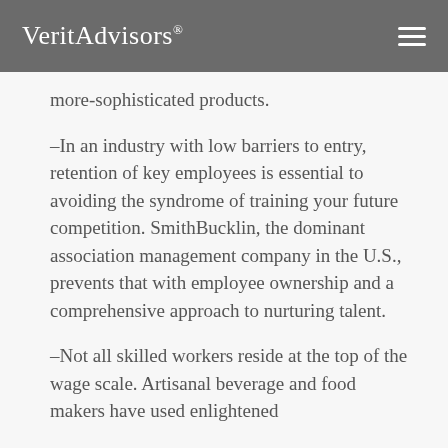VeritAdvisors®
more-sophisticated products.
–In an industry with low barriers to entry, retention of key employees is essential to avoiding the syndrome of training your future competition. SmithBucklin, the dominant association management company in the U.S., prevents that with employee ownership and a comprehensive approach to nurturing talent.
–Not all skilled workers reside at the top of the wage scale. Artisanal beverage and food makers have used enlightened